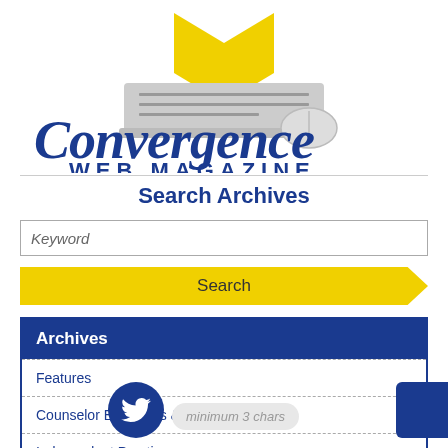[Figure (logo): Convergence Web Magazine logo with book, laptop, and mouse illustration in blue and yellow]
Search Archives
Keyword
Search
Archives
Features
Counselor Educators & Researchers
Independent Practice